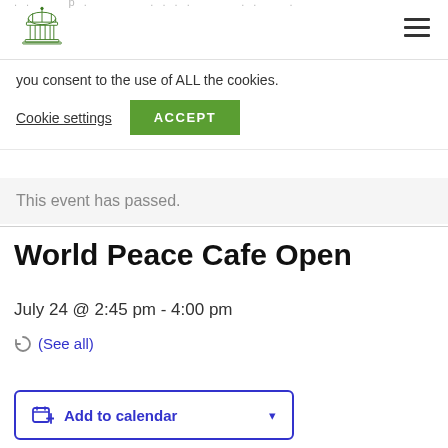... p... . . . . .
[Figure (logo): Green illustrated building/pavilion logo]
you consent to the use of ALL the cookies.
Cookie settings   ACCEPT
This event has passed.
World Peace Cafe Open
July 24 @ 2:45 pm - 4:00 pm
(See all)
Add to calendar